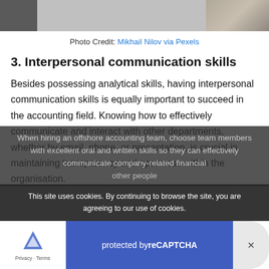[Figure (photo): Photo strip at top of page showing people, partially cropped]
Photo Credit: Mikhail Nilov via Pexels
3. Interpersonal communication skills
Besides possessing analytical skills, having interpersonal communication skills is equally important to succeed in the accounting field. Knowing how to effectively communicate and interact with other departments, whether by email, phone, or presentation, is crucial in maintaining transparency and openness within the organisation.
When hiring an offshore accounting team, choose team members with excellent oral and written skills so they can effectively communicate company-related financial ... other people
This site uses cookies. By continuing to browse the site, you are agreeing to our use of cookies.
protected by reCAPTCHA